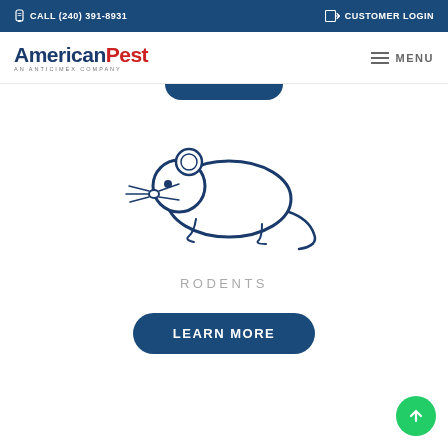CALL (240) 391-8931 | CUSTOMER LOGIN
[Figure (logo): AmericanPest logo - An Anticimex Company]
MENU
[Figure (illustration): Line drawing icon of a rodent/mouse in navy blue outline style]
RODENTS
LEARN MORE